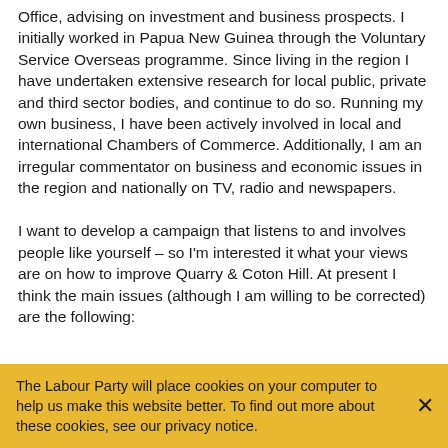Office, advising on investment and business prospects.  I initially worked in Papua New Guinea through the Voluntary Service Overseas programme.  Since living in the region I have undertaken extensive research for local public, private and third sector bodies, and continue to do so.  Running my own business, I have been actively involved in local and international Chambers of Commerce.  Additionally, I am an irregular commentator on business and economic issues in the region and nationally on TV, radio and newspapers.
I want to develop a campaign that listens to and involves people like yourself – so I'm interested it what your views are on how to improve Quarry & Coton Hill.  At present I think the main issues (although I am willing to be corrected) are the following:
The Labour Party will place cookies on your computer to help us make this website better. To find out more about these cookies, see our privacy notice.